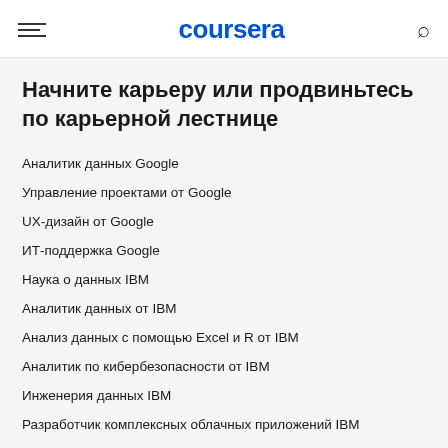coursera
Начните карьеру или продвиньтесь по карьерной лестнице
Аналитик данных Google
Управление проектами от Google
UX-дизайн от Google
ИТ-поддержка Google
Наука о данных IBM
Аналитик данных от IBM
Анализ данных с помощью Excel и R от IBM
Аналитик по кибербезопасности от IBM
Инженерия данных IBM
Разработчик комплексных облачных приложений IBM
Маркетинг в социальных сетях от Facebook